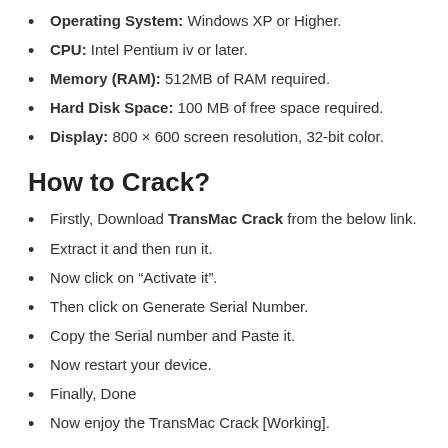Operating System: Windows XP or Higher.
CPU: Intel Pentium iv or later.
Memory (RAM): 512MB of RAM required.
Hard Disk Space: 100 MB of free space required.
Display: 800 × 600 screen resolution, 32-bit color.
How to Crack?
Firstly, Download TransMac Crack from the below link.
Extract it and then run it.
Now click on “Activate it”.
Then click on Generate Serial Number.
Copy the Serial number and Paste it.
Now restart your device.
Finally, Done
Now enjoy the TransMac Crack [Working].
TransMac 14.6 Crack + Full Torrent [Latest 2022] Free Version Download Link is given below: